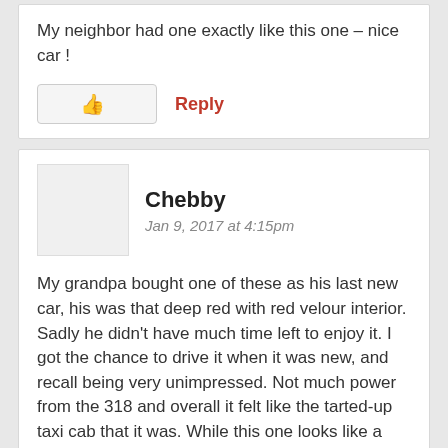My neighbor had one exactly like this one – nice car !
Reply
Chebby
Jan 9, 2017 at 4:15pm
My grandpa bought one of these as his last new car, his was that deep red with red velour interior. Sadly he didn't have much time left to enjoy it. I got the chance to drive it when it was new, and recall being very unimpressed. Not much power from the 318 and overall it felt like the tarted-up taxi cab that it was. While this one looks like a